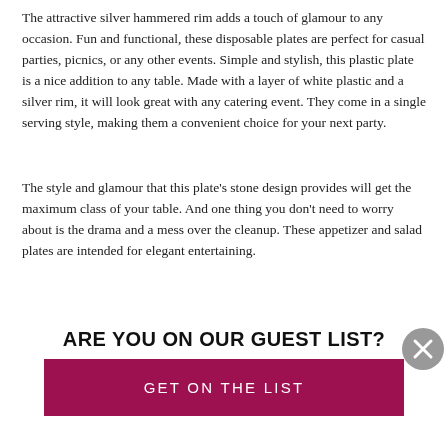The attractive silver hammered rim adds a touch of glamour to any occasion. Fun and functional, these disposable plates are perfect for casual parties, picnics, or any other events. Simple and stylish, this plastic plate is a nice addition to any table. Made with a layer of white plastic and a silver rim, it will look great with any catering event. They come in a single serving style, making them a convenient choice for your next party.
The style and glamour that this plate's stone design provides will get the maximum class of your table. And one thing you don't need to worry about is the drama and a mess over the cleanup. These appetizer and salad plates are intended for elegant entertaining.
Toss these plates in the garbage when you are done and forget about the clean-up. These disposable plastic plates are ideal for
ARE YOU ON OUR GUEST LIST?
GET ON THE LIST